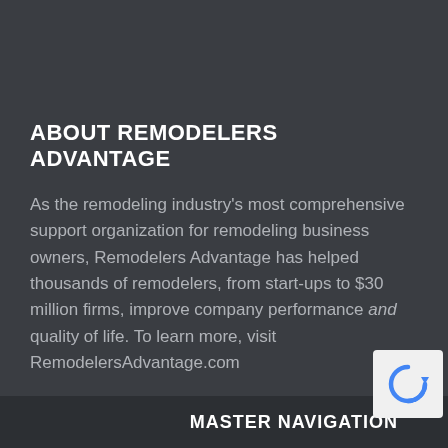ABOUT REMODELERS ADVANTAGE
As the remodeling industry's most comprehensive support organization for remodeling business owners, Remodelers Advantage has helped thousands of remodelers, from start-ups to $30 million firms, improve company performance and quality of life. To learn more, visit RemodelersAdvantage.com
[Figure (logo): reCAPTCHA logo icon in a white rounded box]
MASTER NAVIGATION